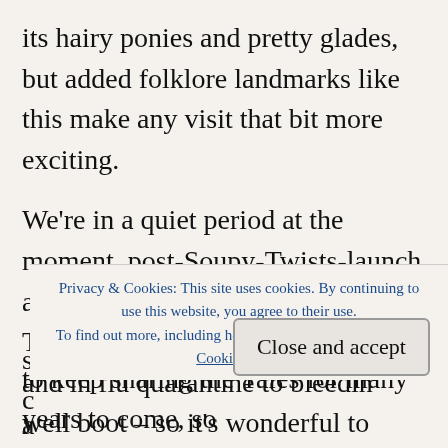its hairy ponies and pretty glades, but added folklore landmarks like this make any visit that bit more exciting.
We're in a quiet period at the moment, post-Soupy-Twists-launch and before the latest version of the Tales manuscript is returned to us – and in flu quarantine to bleedin' well boot – so it's wonderful to have some freedom to get back to retelling ancient folktales about dragons and slavers and the like, from s[...] c[...] a[...] j[...]
Privacy & Cookies: This site uses cookies. By continuing to use this website, you agree to their use. To find out more, including how to control cookies, see here: Cookie Policy
Close and accept
to keep sharing the Tales for many years to come, so